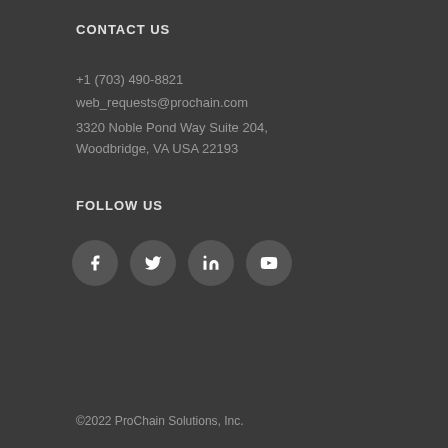CONTACT US
+1 (703) 490-8821
web_requests@prochain.com
3320 Noble Pond Way Suite 204, Woodbridge, VA USA 22193
FOLLOW US
[Figure (illustration): Social media icons: Facebook, Twitter, LinkedIn, YouTube in dark circular buttons]
©2022 ProChain Solutions, Inc.